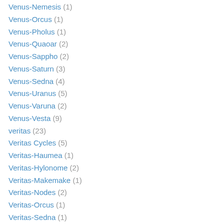Venus-Nemesis (1)
Venus-Orcus (1)
Venus-Pholus (1)
Venus-Quaoar (2)
Venus-Sappho (2)
Venus-Saturn (3)
Venus-Sedna (4)
Venus-Uranus (5)
Venus-Varuna (2)
Venus-Vesta (9)
veritas (23)
Veritas Cycles (5)
Veritas-Haumea (1)
Veritas-Hylonome (2)
Veritas-Makemake (1)
Veritas-Nodes (2)
Veritas-Orcus (1)
Veritas-Sedna (1)
Vertex (3)
Vesta (49)